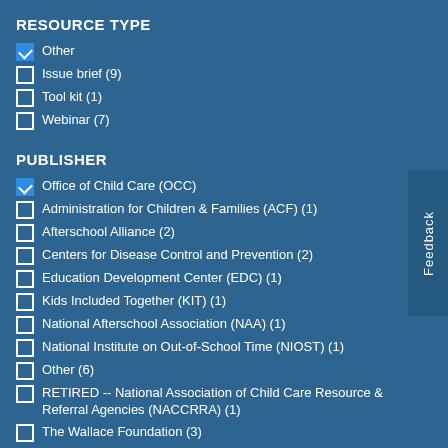RESOURCE TYPE
Other (checked)
Issue brief (9)
Tool kit (1)
Webinar (7)
PUBLISHER
Office of Child Care (OCC) (checked)
Administration for Children & Families (ACF) (1)
Afterschool Alliance (2)
Centers for Disease Control and Prevention (2)
Education Development Center (EDC) (1)
Kids Included Together (KIT) (1)
National Afterschool Association (NAA) (1)
National Institute on Out-of-School Time (NIOST) (1)
Other (6)
RETIRED -- National Association of Child Care Resource & Referral Agencies (NACCRRA) (1)
The Wallace Foundation (3)